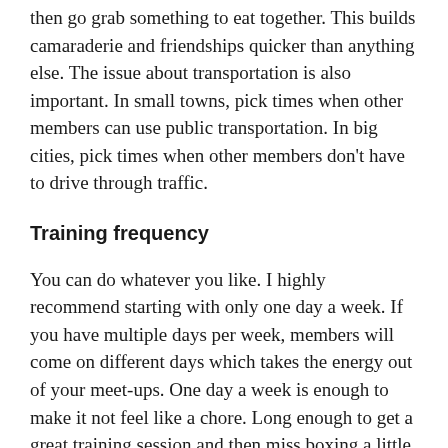then go grab something to eat together. This builds camaraderie and friendships quicker than anything else. The issue about transportation is also important. In small towns, pick times when other members can use public transportation. In big cities, pick times when other members don't have to drive through traffic.
Training frequency
You can do whatever you like. I highly recommend starting with only one day a week. If you have multiple days per week, members will come on different days which takes the energy out of your meet-ups. One day a week is enough to make it not feel like a chore. Long enough to get a great training session and then miss boxing a little and get excited for the next one.
Training intensity